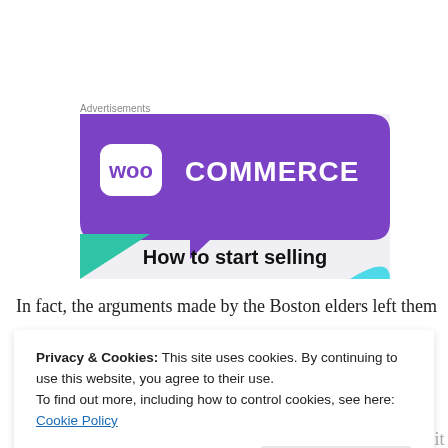Advertisements
[Figure (illustration): WooCommerce advertisement banner showing the WooCommerce logo in white on a purple speech-bubble shape, with teal and cyan decorative triangles on a light grey background, and the text 'How to start selling' in bold black at the bottom.]
In fact, the arguments made by the Boston elders left them
Privacy & Cookies: This site uses cookies. By continuing to use this website, you agree to their use.
To find out more, including how to control cookies, see here: Cookie Policy
could be justified so close together in Boston, why would it